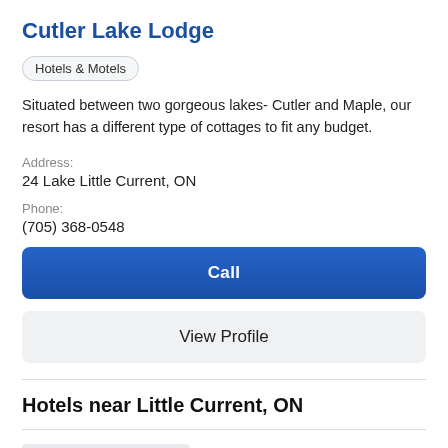Cutler Lake Lodge
Hotels & Motels
Situated between two gorgeous lakes- Cutler and Maple, our resort has a different type of cottages to fit any budget.
Address:
24 Lake Little Current, ON
Phone:
(705) 368-0548
Call
View Profile
Hotels near Little Current, ON
[Figure (illustration): Gray placeholder image of a hotel building icon]